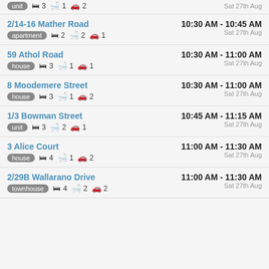unit  3 beds  1 bath  2 cars | Sat 27th Aug
2/14-16 Mather Road | 10:30 AM - 10:45 AM | apartment 2 beds 2 bath 1 car | Sat 27th Aug
59 Athol Road | 10:30 AM - 11:00 AM | house 3 beds 1 bath 1 car | Sat 27th Aug
8 Moodemere Street | 10:30 AM - 11:00 AM | house 3 beds 1 bath 2 cars | Sat 27th Aug
1/3 Bowman Street | 10:45 AM - 11:15 AM | unit 3 beds 2 bath 1 car | Sat 27th Aug
3 Alice Court | 11:00 AM - 11:30 AM | house 4 beds 1 bath 2 cars | Sat 27th Aug
2/29B Wallarano Drive | 11:00 AM - 11:30 AM | townhouse 4 beds 2 bath 2 cars | Sat 27th Aug